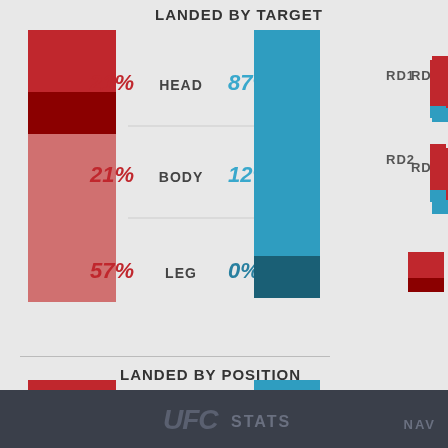LANDED BY TARGET
[Figure (stacked-bar-chart): Landed By Target]
LANDED BY POSITION
[Figure (stacked-bar-chart): Landed By Position]
RD1
RD2
UFC STATS   NAV